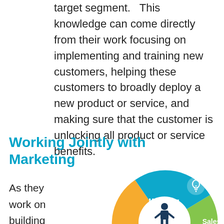target segment. This knowledge can come directly from their work focusing on implementing and training new customers, helping these customers to broadly deploy a new product or service, and making sure that the customer is unlocking all product or service benefits.
Working Jointly with Marketing
As they work on building the voice of the customer,
[Figure (infographic): Circular diagram showing three overlapping sections: Marketing (teal/blue, top, with lightbulb icon), Sales (green, right), and a third section (orange, bottom-left, with handshake icon). Center shows a person icon with text 'One Revenue Organization'.]